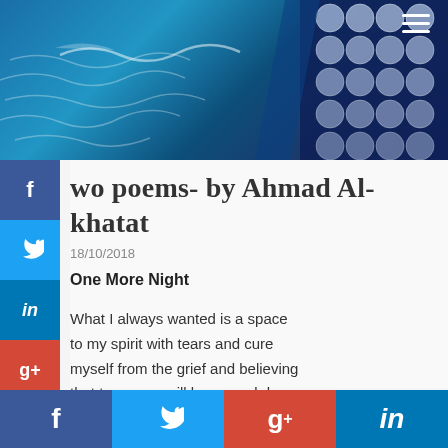[Figure (photo): Hero image: underwater/ocean scene with blue tones, bubbles and circular patterns on the right, water ripples on the left. Hamburger menu icon in top right corner.]
Two poems- by Ahmad Al-Khatat
18/10/2018
One More Night
What I always wanted is a space
to my spirit with tears and cure
myself from the grief and believing
that tomorrow will be a good day